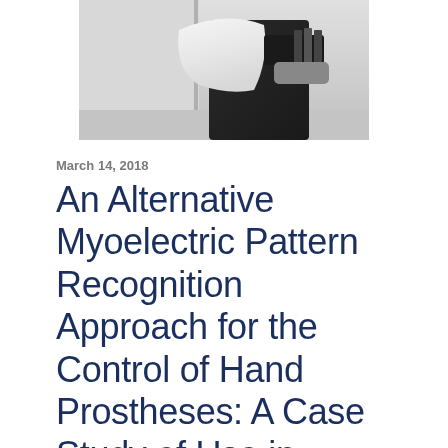[Figure (photo): A person holding a white fabric item, likely demonstrating a hand prosthesis or related device. The person is wearing black clothing and gloves with sensor attachments visible on the forearm.]
March 14, 2018
An Alternative Myoelectric Pattern Recognition Approach for the Control of Hand Prostheses: A Case Study of Use in